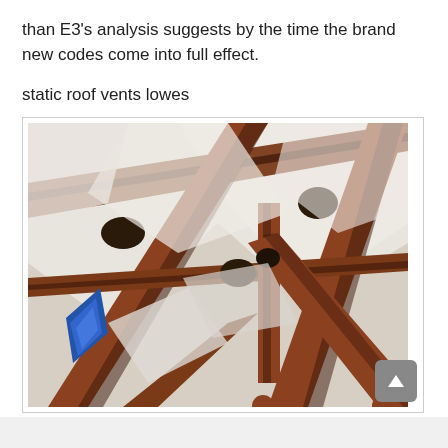than E3's analysis suggests by the time the brand new codes come into full effect.
static roof vents lowes
[Figure (photo): Interior photo looking up at wooden roof trusses and beams intersecting at angles, with white painted ceiling visible between the beams. A small blue stained glass window is partially visible on the left side.]